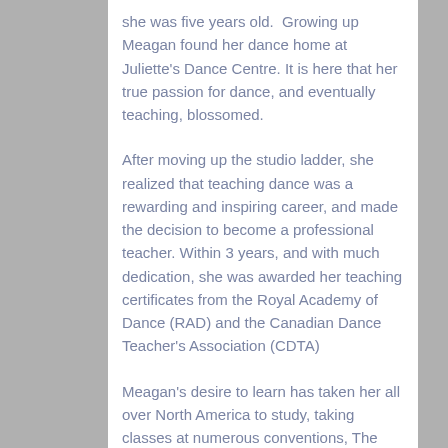she was five years old.  Growing up Meagan found her dance home at Juliette's Dance Centre. It is here that her true passion for dance, and eventually teaching, blossomed.
After moving up the studio ladder, she realized that teaching dance was a rewarding and inspiring career, and made the decision to become a professional teacher. Within 3 years, and with much dedication, she was awarded her teaching certificates from the Royal Academy of Dance (RAD) and the Canadian Dance Teacher's Association (CDTA)
Meagan's desire to learn has taken her all over North America to study, taking classes at numerous conventions, The EDGE (Los Angeles), Broadway Dance Centre (NYC).  She continues to attend teaching conventions and workshops to stay innovative and bring